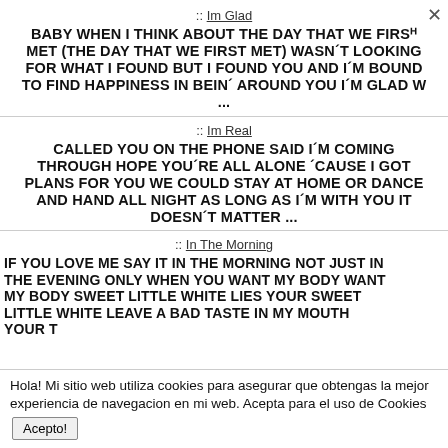:: Im Glad
BABY WHEN I THINK ABOUT THE DAY THAT WE FIRST MET (THE DAY THAT WE FIRST MET) WASN´T LOOKING FOR WHAT I FOUND BUT I FOUND YOU AND I´M BOUND TO FIND HAPPINESS IN BEIN´ AROUND YOU I´M GLAD W ...
:: Im Real
CALLED YOU ON THE PHONE SAID I´M COMING THROUGH HOPE YOU´RE ALL ALONE ´CAUSE I GOT PLANS FOR YOU WE COULD STAY AT HOME OR DANCE AND HAND ALL NIGHT AS LONG AS I´M WITH YOU IT DOESN´T MATTER ...
:: In The Morning
IF YOU LOVE ME SAY IT IN THE MORNING NOT JUST IN THE EVENING ONLY WHEN YOU WANT MY BODY WANT MY BODY SWEET LITTLE WHITE LIES YOUR SWEET LITTLE WHITE LEAVE A BAD TASTE IN MY MOUTH YOUR T
Hola! Mi sitio web utiliza cookies para asegurar que obtengas la mejor experiencia de navegacion en mi web. Acepta para el uso de Cookies